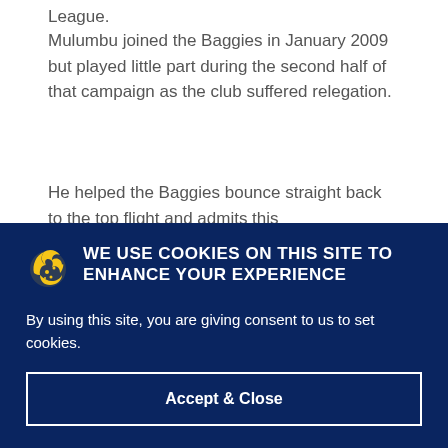League.
Mulumbu joined the Baggies in January 2009 but played little part during the second half of that campaign as the club suffered relegation.
He helped the Baggies bounce straight back to the top flight and admits this
WE USE COOKIES ON THIS SITE TO ENHANCE YOUR EXPERIENCE
By using this site, you are giving consent to us to set cookies.
Accept & Close